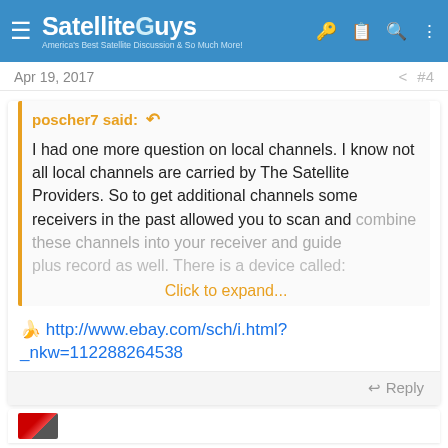SatelliteGuys — America's Best Satellite Discussion & So Much More!
Apr 19, 2017   #4
poscher7 said:
I had one more question on local channels. I know not all local channels are carried by The Satellite Providers. So to get additional channels some receivers in the past allowed you to scan and combine these channels into your receiver and guide plus record as well. There is a device called:
Click to expand...
http://www.ebay.com/sch/i.html?_nkw=112288264538
Reply